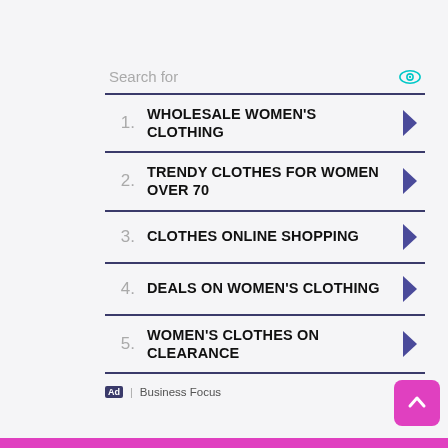Search for
1. WHOLESALE WOMEN'S CLOTHING
2. TRENDY CLOTHES FOR WOMEN OVER 70
3. CLOTHES ONLINE SHOPPING
4. DEALS ON WOMEN'S CLOTHING
5. WOMEN'S CLOTHES ON CLEARANCE
Ad | Business Focus